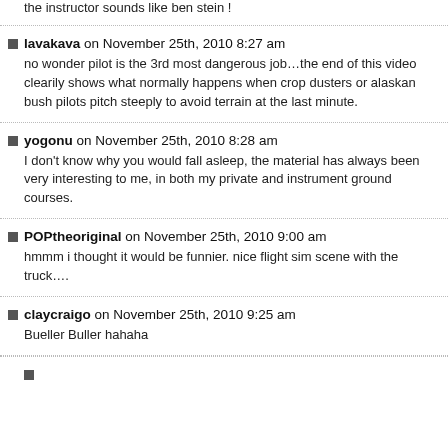the instructor sounds like ben stein !
lavakava on November 25th, 2010 8:27 am
no wonder pilot is the 3rd most dangerous job…the end of this video clearily shows what normally happens when crop dusters or alaskan bush pilots pitch steeply to avoid terrain at the last minute.
yogonu on November 25th, 2010 8:28 am
I don't know why you would fall asleep, the material has always been very interesting to me, in both my private and instrument ground courses.
POPtheoriginal on November 25th, 2010 9:00 am
hmmm i thought it would be funnier. nice flight sim scene with the truck….
claycraigo on November 25th, 2010 9:25 am
Bueller Buller hahaha